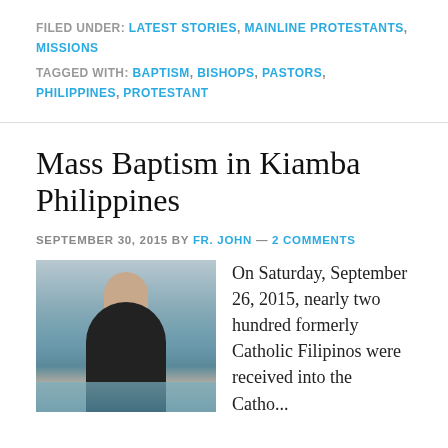FILED UNDER: LATEST STORIES, MAINLINE PROTESTANTS, MISSIONS
TAGGED WITH: BAPTISM, BISHOPS, PASTORS, PHILIPPINES, PROTESTANT
Mass Baptism in Kiamba Philippines
SEPTEMBER 30, 2015 BY FR. JOHN — 2 COMMENTS
[Figure (photo): A person holding a child during a baptism in water, both appear wet, outdoors near a body of water.]
On Saturday, September 26, 2015, nearly two hundred formerly Catholic Filipinos were received into the Catho...